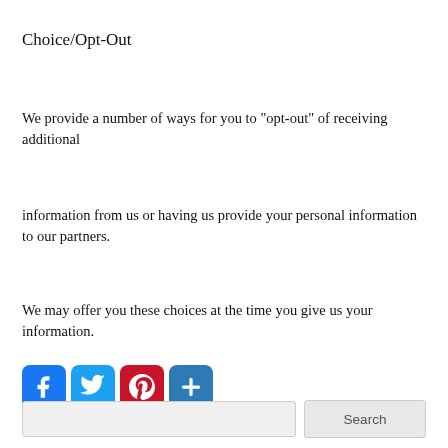Choice/Opt-Out
We provide a number of ways for you to "opt-out" of receiving additional
information from us or having us provide your personal information to our partners.
We may offer you these choices at the time you give us your information.
[Figure (other): Social sharing buttons: Facebook (blue), Twitter (light blue), Pinterest (red), Share/Plus (blue)]